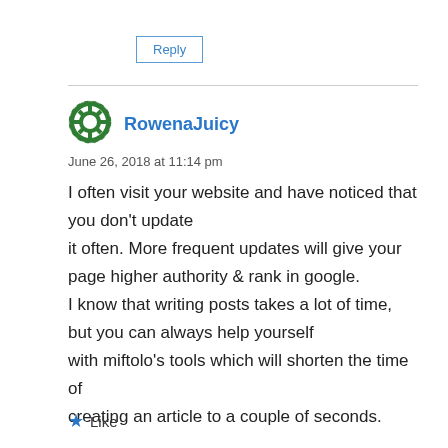Reply
[Figure (illustration): Green and white circular avatar icon with a cross/snowflake pattern]
RowenaJuicy
June 26, 2018 at 11:14 pm
I often visit your website and have noticed that you don't update it often. More frequent updates will give your page higher authority & rank in google. I know that writing posts takes a lot of time, but you can always help yourself with miftolo's tools which will shorten the time of creating an article to a couple of seconds.
Like